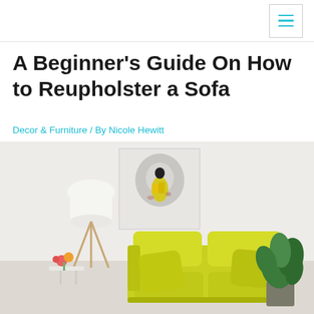[Navigation bar with hamburger menu icon]
A Beginner’s Guide On How to Reupholster a Sofa
Decor & Furniture / By Nicole Hewitt
[Figure (photo): A bright living room scene featuring a yellow-green sofa with cushions, a white tripod floor lamp, a green potted plant, colorful flowers on a side table, and an abstract painting of a woman in yellow on the white-painted brick wall.]